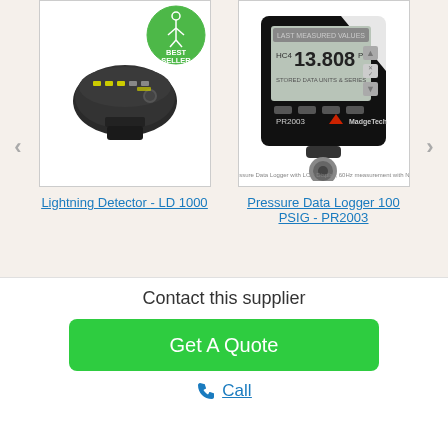[Figure (photo): Product image of Lightning Detector LD 1000 - a small black electronic device with yellow indicator lights, shown with a green Best Seller badge]
Lightning Detector - LD 1000
[Figure (photo): Product image of Pressure Data Logger 100 PSIG PR2003 - a black square data logger device with LCD display showing 13.808 PSIG, MadgeTech brand]
Pressure Data Logger 100 PSIG - PR2003
Contact this supplier
Get A Quote
Call